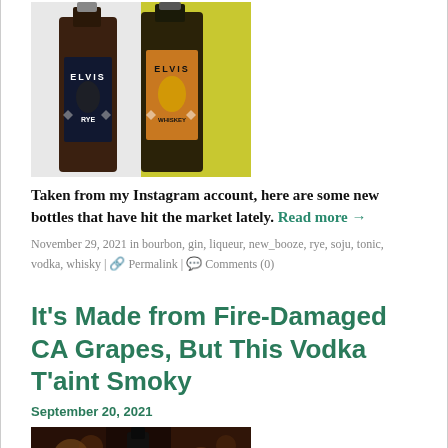[Figure (photo): Two Elvis-branded whiskey bottles (Elvis Rye and Elvis Whiskey) standing side by side against a yellow background]
Taken from my Instagram account, here are some new bottles that have hit the market lately. Read more →
November 29, 2021 in bourbon, gin, liqueur, new_booze, rye, soju, tonic, vodka, whisky | 🔗 Permalink | 💬 Comments (0)
It's Made from Fire-Damaged CA Grapes, But This Vodka T'aint Smoky
September 20, 2021
[Figure (photo): Dark background photo with a bottle visible, appears to be a vodka product]